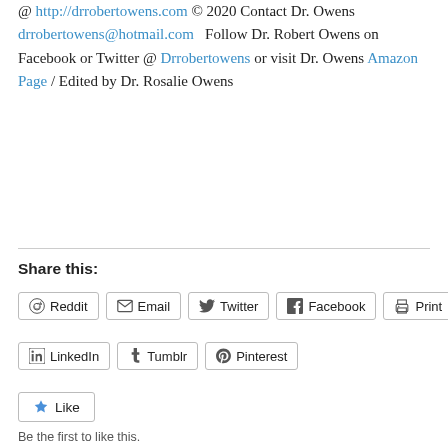@ http://drrobertowens.com © 2020 Contact Dr. Owens drrobertowens@hotmail.com   Follow Dr. Robert Owens on Facebook or Twitter @ Drrobertowens or visit Dr. Owens Amazon Page / Edited by Dr. Rosalie Owens
Share this:
Reddit  Email  Twitter  Facebook  Print  LinkedIn  Tumblr  Pinterest
Like
Be the first to like this.